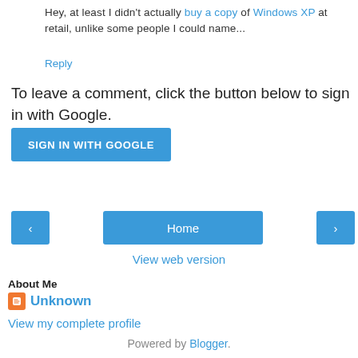Hey, at least I didn't actually buy a copy of Windows XP at retail, unlike some people I could name...
Reply
To leave a comment, click the button below to sign in with Google.
SIGN IN WITH GOOGLE
[Figure (infographic): Navigation bar with left arrow button, Home button, and right arrow button]
View web version
About Me
Unknown
View my complete profile
Powered by Blogger.